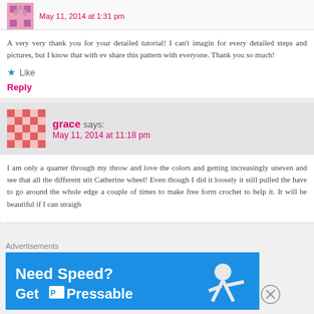May 11, 2014 at 1:31 pm
A very very thank you for your detailed tutorial! I can't imagin for every detailed steps and pictures, but I know that with ev share this pattern with everyone. Thank you so much!
Like
Reply
grace says:
May 11, 2014 at 11:18 pm
I am only a quarter through my throw and love the colors and getting increasingly uneven and see that all the different stit Catherine wheel! Even though I did it loosely it still pulled the have to go around the whole edge a couple of times to make free form crochet to help it. It will be beautiful if I can straigh
Advertisements
[Figure (screenshot): Blue advertisement banner for Pressable hosting: 'Need Speed? Get Pressable' with a person running/flying on blue background]